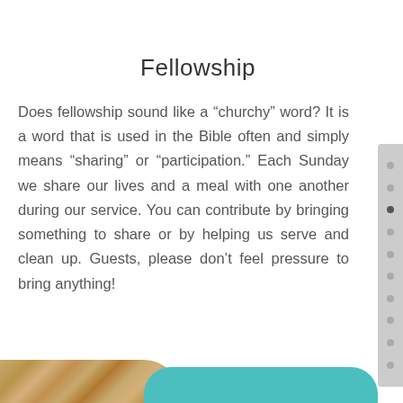Fellowship
Does fellowship sound like a “churchy” word? It is a word that is used in the Bible often and simply means “sharing” or “participation.” Each Sunday we share our lives and a meal with one another during our service. You can contribute by bringing something to share or by helping us serve and clean up. Guests, please don’t feel pressure to bring anything!